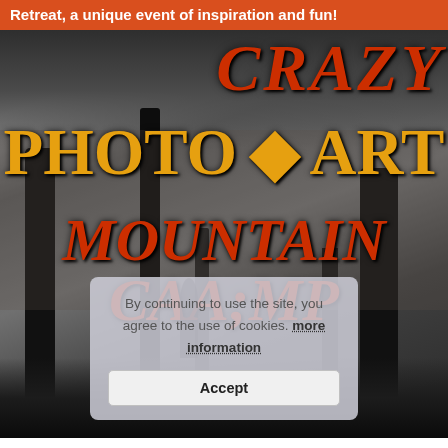Retreat, a unique event of inspiration and fun!
[Figure (photo): Black and white forest/mountain scene with large decorative text overlay reading 'CRAZY PHOTO • ART MOUNTAIN CAMP' in orange and golden yellow retro typography. A cookie consent dialog box appears in the lower center of the image.]
By continuing to use the site, you agree to the use of cookies. more information
Accept